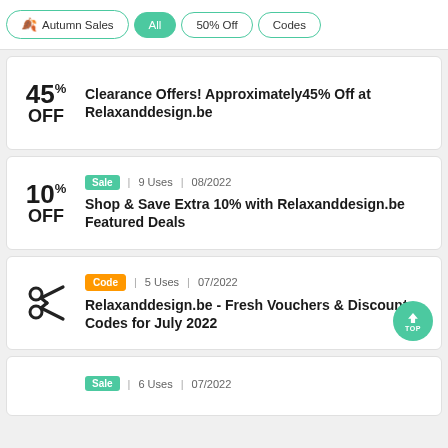Autumn Sales | All | 50% Off | Codes
45% OFF — Clearance Offers! Approximately 45% Off at Relaxanddesign.be
Sale | 9 Uses | 08/2022 — 10% OFF — Shop & Save Extra 10% with Relaxanddesign.be Featured Deals
Code | 5 Uses | 07/2022 — Relaxanddesign.be - Fresh Vouchers & Discount Codes for July 2022
Sale | 6 Uses | 07/2022